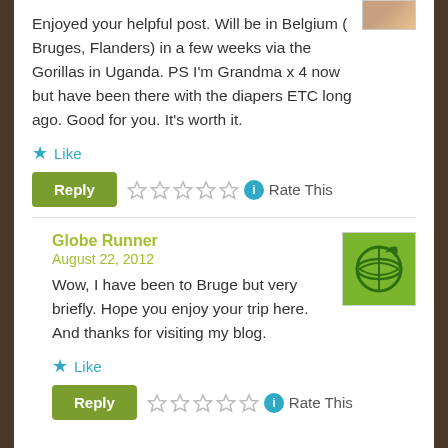[Figure (photo): Small avatar photo thumbnail in top right corner of first comment]
Enjoyed your helpful post. Will be in Belgium ( Bruges, Flanders) in a few weeks via the Gorillas in Uganda. PS I'm Grandma x 4 now but have been there with the diapers ETC long ago. Good for you. It's worth it.
★ Like
Reply ☆☆☆☆☆ ℹ Rate This
Globe Runner
August 22, 2012
[Figure (logo): Green square avatar with globe runner logo — dark green globe/runner icon on green background]
Wow, I have been to Bruge but very briefly. Hope you enjoy your trip here. And thanks for visiting my blog.
★ Like
Reply ☆☆☆☆☆ ℹ Rate This